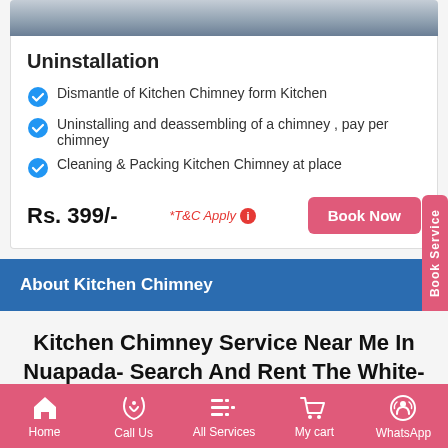[Figure (photo): Partial photo at top of page, blurred/cropped image of a person or background]
Uninstallation
Dismantle of Kitchen Chimney form Kitchen
Uninstalling and deassembling of a chimney , pay per chimney
Cleaning & Packing Kitchen Chimney at place
Rs. 399/-   *T&C Apply   Book Now
About Kitchen Chimney
Kitchen Chimney Service Near Me In Nuapada- Search And Rent The White-Collar
The kitchen chimney is of the electrical home
Home   Call Us   All Services   My cart   WhatsApp